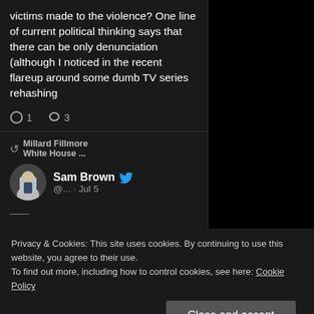victims made to the violence? One line of current political thinking says that there can be only denunciation (although I noticed in the recent flareup around some dumb TV series rehashing
1  3
Millard Fillmore White House ...
Sam Brown @... · Jul 5
Privacy & Cookies: This site uses cookies. By continuing to use this website, you agree to their use.
To find out more, including how to control cookies, see here: Cookie Policy
Close and accept
Such a strange cultural